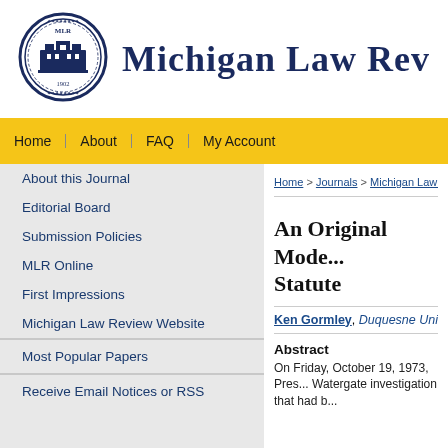[Figure (logo): Michigan Law Review circular seal logo with building illustration and '1902' text, in dark navy blue]
Michigan Law Review
Home | About | FAQ | My Account
About this Journal
Editorial Board
Submission Policies
MLR Online
First Impressions
Michigan Law Review Website
Most Popular Papers
Receive Email Notices or RSS
Home > Journals > Michigan Law Re...
An Original Mode... Statute
Ken Gormley, Duquesne Univers...
Abstract
On Friday, October 19, 1973, Pres... Watergate investigation that had b...